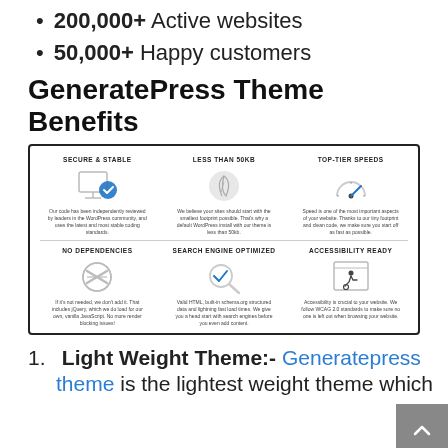200,000+ Active websites
50,000+ Happy customers
GeneratePress Theme Benefits
[Figure (infographic): Six-panel infographic showing GeneratePress theme benefits: Secure & Stable, Less Than 50KB, Top-Tier Speeds, No Dependencies, Search Engine Optimized, Accessibility Ready — each with an icon and short description.]
1. Light Weight Theme:- Generatepress theme is the lightest weight theme which